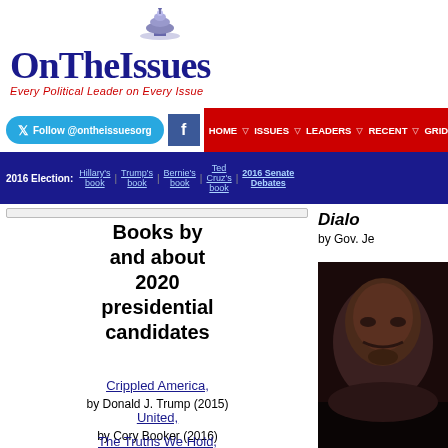[Figure (logo): OnTheIssues logo with capitol dome and tagline 'Every Political Leader on Every Issue']
Follow @ontheissuesorg | HOME | ISSUES | LEADERS | RECENT | GRID | ARCH
2016 Election: Hillary's book | Trump's book | Bernie's book | Ted Cruz's book | 2016 Senate Debates
Books by and about 2020 presidential candidates
Crippled America, by Donald J. Trump (2015)
United, by Cory Booker (2016)
The Truths We Hold, by Kamala Harris (2019)
Smart on Crime, by Kamala Harris (2010)
Dialo by Gov. Je
[Figure (photo): Close-up black and white photo of a person's face]